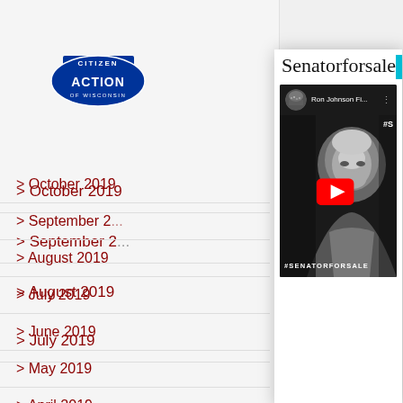[Figure (logo): Citizen Action of Wisconsin logo - blue shield shape with 'CITIZEN ACTION OF WISCONSIN' text]
> October 2019
> September 2...
> August 2019
> July 2019
> June 2019
> May 2019
> April 2019
> March 2019
Senatorforsale
CLOSE
[Figure (screenshot): YouTube video thumbnail showing Ron Johnson Fi... with #SENATORFORSALE text overlay on a black and white photo of an older man, with a YouTube play button in the center]